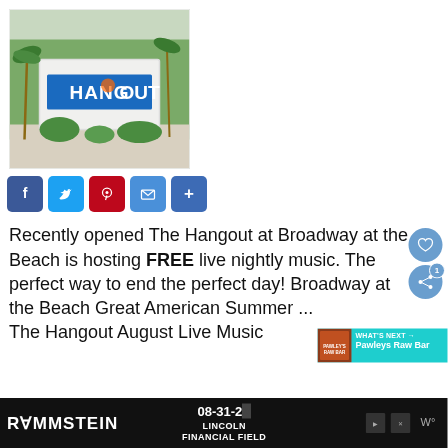[Figure (photo): Photo of The Hangout sign at Broadway at the Beach, with tropical landscaping and palm trees in the background]
[Figure (infographic): Social media share buttons: Facebook (blue), Twitter (light blue), Pinterest (red), Email (blue), More/Plus (blue)]
Recently opened The Hangout at Broadway at the Beach is hosting FREE live nightly music. The perfect way to end the perfect day! Broadway at the Beach Great American Summer ... The Hangout August Live Music
[Figure (infographic): What's Next overlay showing Pawleys Raw Bar with teal background]
[Figure (infographic): Rammstein advertisement banner showing 08-31-2X at Lincoln Financial Field]